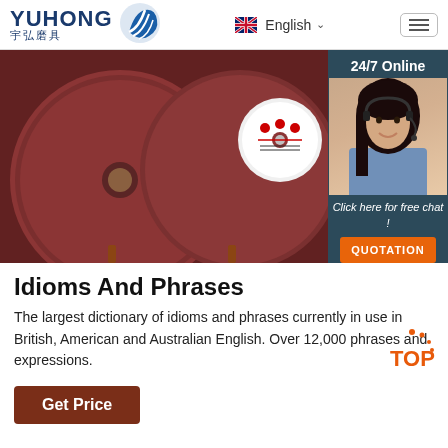YUHONG 宇弘磨具 | English | Menu
[Figure (photo): Hero photo of abrasive grinding wheels (dark reddish-brown) with a chat widget showing a customer service agent. Text: 24/7 Online, Click here for free chat!, QUOTATION button.]
Idioms And Phrases
The largest dictionary of idioms and phrases currently in use in British, American and Australian English. Over 12,000 phrases and expressions.
[Figure (logo): TOP badge logo in orange/red]
Get Price